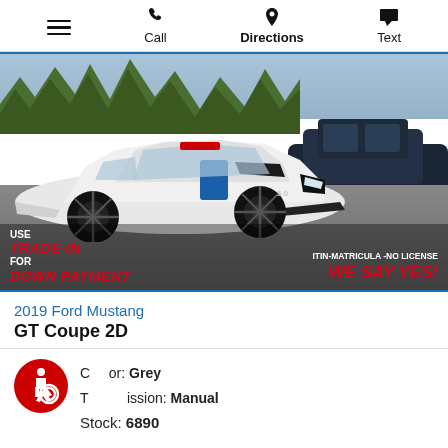Call | Directions | Text
[Figure (photo): 2019 Ford Mustang GT Coupe 2D white sports car in dealership lot with promotional overlay text: USE TRADE-IN FOR DOWN PAYMENT / ITIN-MATRICULA -NO LICENSE WE SAY YES!]
2019 Ford Mustang GT Coupe 2D
Color: Grey
Transmission: Manual
Stock: 6890